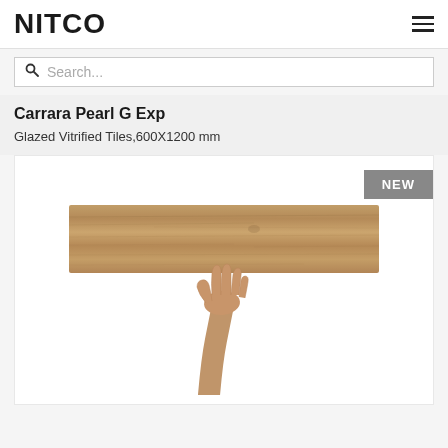NITCO
Search...
Carrara Pearl G Exp
Glazed Vitrified Tiles,600X1200 mm
[Figure (photo): A wood-look ceramic tile held up by a hand against a white background, with a NEW badge in the top right corner.]